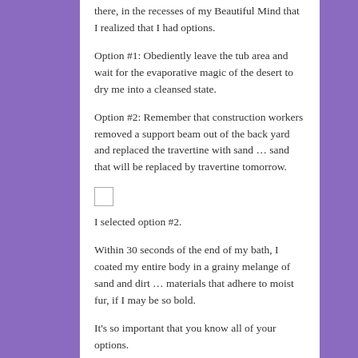there, in the recesses of my Beautiful Mind that I realized that I had options.
Option #1: Obediently leave the tub area and wait for the evaporative magic of the desert to dry me into a cleansed state.
Option #2: Remember that construction workers removed a support beam out of the back yard and replaced the travertine with sand … sand that will be replaced by travertine tomorrow.
[Figure (other): Small empty checkbox square]
I selected option #2.
Within 30 seconds of the end of my bath, I coated my entire body in a grainy melange of sand and dirt … materials that adhere to moist fur, if I may be so bold.
It's so important that you know all of your options.